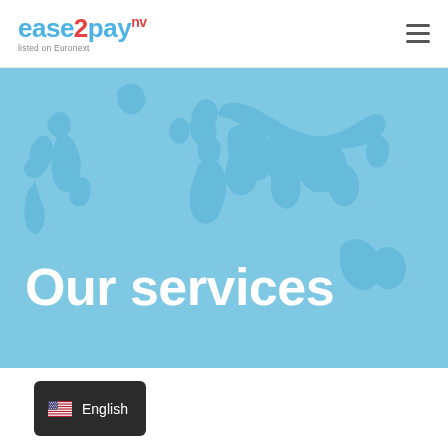[Figure (logo): ease2pay NV logo with tagline 'listed on Euronext']
[Figure (illustration): World map illustration on light blue background forming a hero banner with text 'Our services']
Our services
[Figure (other): Language selector button showing US flag and text 'English' on dark background]